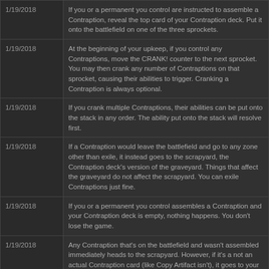| Date | Rule Text |
| --- | --- |
| 1/19/2018 | If you or a permanent you control are instructed to assemble a Contraption, reveal the top card of your Contraption deck. Put it onto the battlefield on one of the three sprockets. |
| 1/19/2018 | At the beginning of your upkeep, if you control any Contraptions, move the CRANK! counter to the next sprocket. You may then crank any number of Contraptions on that sprocket, causing their abilities to trigger. Cranking a Contraption is always optional. |
| 1/19/2018 | If you crank multiple Contraptions, their abilities can be put onto the stack in any order. The ability put onto the stack will resolve first. |
| 1/19/2018 | If a Contraption would leave the battlefield and go to any zone other than exile, it instead goes to the scrapyard, the Contraption deck's version of the graveyard. Things that affect the graveyard do not affect the scrapyard. You can exile Contraptions just fine. |
| 1/19/2018 | If you or a permanent you control assembles a Contraption and your Contraption deck is empty, nothing happens. You don't lose the game. |
| 1/19/2018 | Any Contraption that's on the battlefield and wasn't assembled immediately heads to the scrapyard. However, if it's a not an actual Contraption card (like Copy Artifact isn't), it goes to your graveyard as normal. Non-Contraption cards... |